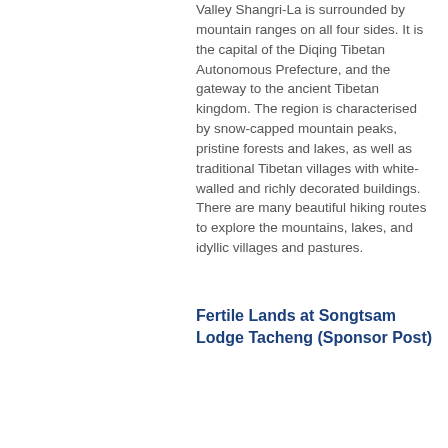Valley Shangri-La is surrounded by mountain ranges on all four sides. It is the capital of the Diqing Tibetan Autonomous Prefecture, and the gateway to the ancient Tibetan kingdom. The region is characterised by snow-capped mountain peaks, pristine forests and lakes, as well as traditional Tibetan villages with white-walled and richly decorated buildings. There are many beautiful hiking routes to explore the mountains, lakes, and idyllic villages and pastures.
Fertile Lands at Songtsam Lodge Tacheng (Sponsor Post)